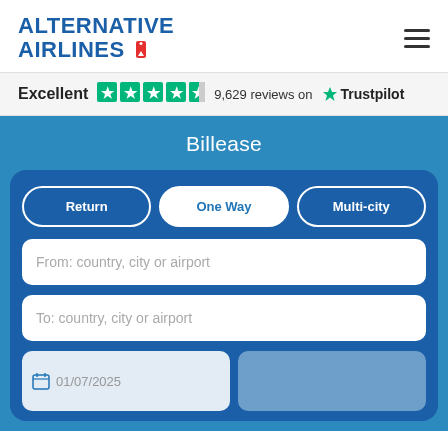ALTERNATIVE AIRLINES
Excellent  9,629 reviews on  Trustpilot
Billease
Return | One Way | Multi-city
From: country, city or airport
To: country, city or airport